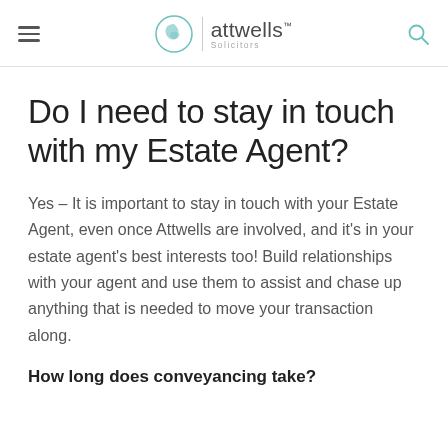attwells Solicitors
Do I need to stay in touch with my Estate Agent?
Yes – It is important to stay in touch with your Estate Agent, even once Attwells are involved, and it's in your estate agent's best interests too! Build relationships with your agent and use them to assist and chase up anything that is needed to move your transaction along.
How long does conveyancing take?